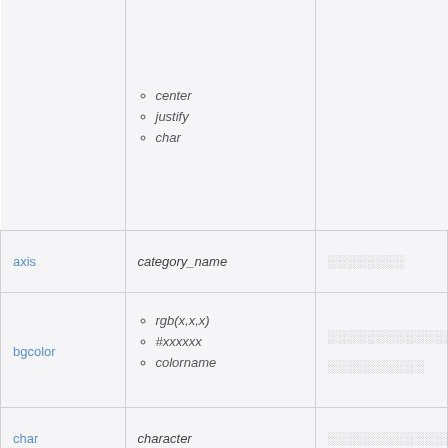| Attribute | Value | Description |
| --- | --- | --- |
| (continued) | center / justify / char |  |
| axis | category_name | ░░░░░░░░ |
| bgcolor | rgb(x,x,x) / #xxxxxx / colorname | ░░░░░░░░░░░░░░░ ░░░░░░░░░░ |
| char | character | ░░░░░░░░░░░░░░░ |
| charoff | number | ░░░░░░░░░░ |
| colspan | number | ░░░░░░░░░░ |
| headers | header_cells'_id | ░░░░░░░░░░ |